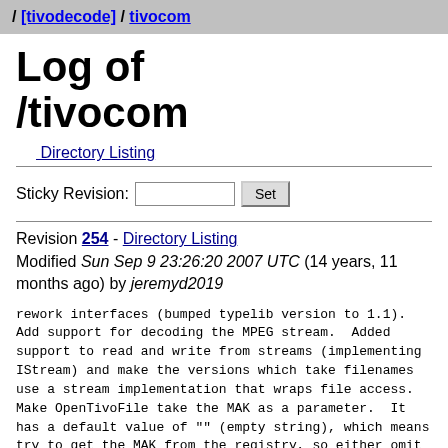/ [tivodecode] / tivocom
Log of /tivocom
Directory Listing
Sticky Revision:  Set
Revision 254 - Directory Listing
Modified Sun Sep 9 23:26:20 2007 UTC (14 years, 11 months ago) by jeremyd2019
rework interfaces (bumped typelib version to 1.1).  Add support for decoding the MPEG stream.  Added support to read and write from streams (implementing IStream) and make the versions which take filenames use a stream implementation that wraps file access.  Make OpenTivoFile take the MAK as a parameter.  It has a default value of "" (empty string), which means try to get the MAK from the registry, so either omit that param (for those languages which permit that) or specify it as empty string to use the MAK from the